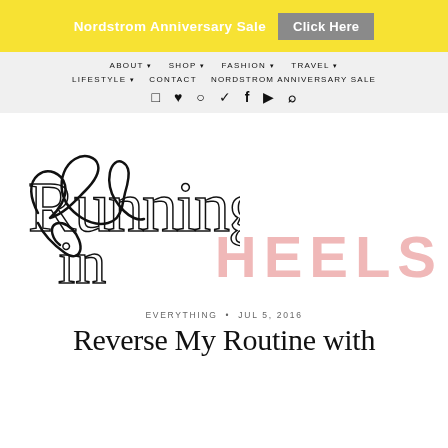Nordstrom Anniversary Sale  Click Here
ABOUT  SHOP  FASHION  TRAVEL  LIFESTYLE  CONTACT  NORDSTROM ANNIVERSARY SALE
[Figure (logo): Running in Heels blog logo — cursive handwritten 'Running in' overlapping large pale pink serif/sans HEELS text]
EVERYTHING • JUL 5, 2016
Reverse My Routine with